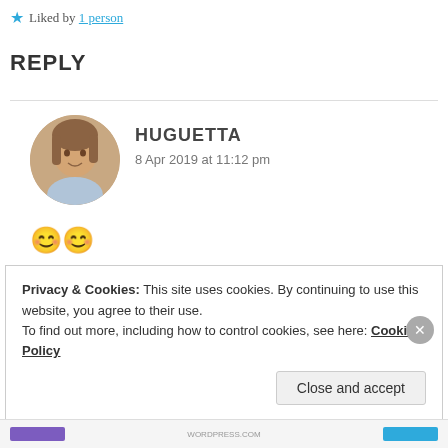★ Liked by 1 person
REPLY
HUGUETTA
8 Apr 2019 at 11:12 pm
😊😊
★ Liked by 1 person
Privacy & Cookies: This site uses cookies. By continuing to use this website, you agree to their use.
To find out more, including how to control cookies, see here: Cookie Policy
Close and accept